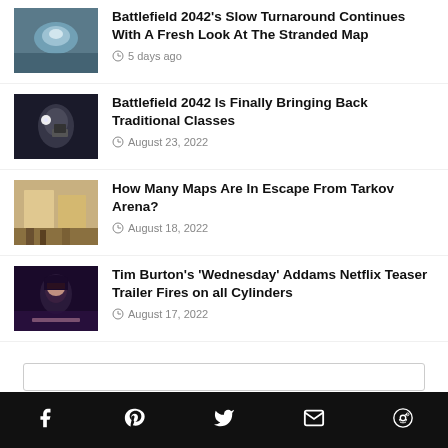Battlefield 2042's Slow Turnaround Continues With A Fresh Look At The Stranded Map
5 days ago
Battlefield 2042 Is Finally Bringing Back Traditional Classes
August 23, 2022
How Many Maps Are In Escape From Tarkov Arena?
August 18, 2022
Tim Burton's 'Wednesday' Addams Netflix Teaser Trailer Fires on all Cylinders
August 17, 2022